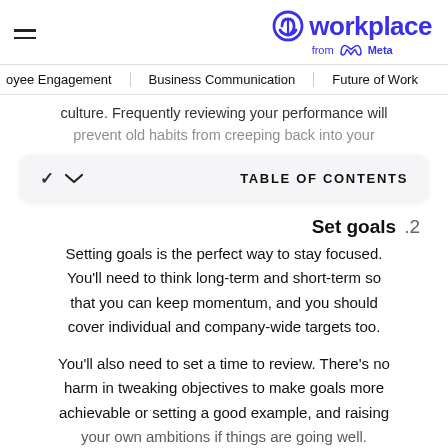Workplace from Meta
Employee Engagement  Business Communication  Future of Work
culture. Frequently reviewing your performance will prevent old habits from creeping back into your
TABLE OF CONTENTS
Set goals  .2
Setting goals is the perfect way to stay focused. You'll need to think long-term and short-term so that you can keep momentum, and you should cover individual and company-wide targets too.
You'll also need to set a time to review. There's no harm in tweaking objectives to make goals more achievable or setting a good example, and raising your own ambitions if things are going well.